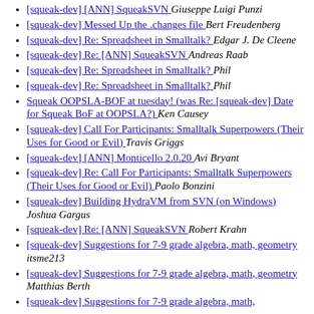[squeak-dev] [ANN] SqueakSVN  Giuseppe Luigi Punzi
[squeak-dev] Messed Up the .changes file  Bert Freudenberg
[squeak-dev] Re: Spreadsheet in Smalltalk?  Edgar J. De Cleene
[squeak-dev] Re: [ANN] SqueakSVN  Andreas Raab
[squeak-dev] Re: Spreadsheet in Smalltalk?  Phil
[squeak-dev] Re: Spreadsheet in Smalltalk?  Phil
Squeak OOPSLA-BOF at tuesday! (was Re: [squeak-dev] Date for Squeak BoF at OOPSLA?)  Ken Causey
[squeak-dev] Call For Participants: Smalltalk Superpowers (Their Uses for Good or Evil)  Travis Griggs
[squeak-dev] [ANN] Monticello 2.0.20  Avi Bryant
[squeak-dev] Re: Call For Participants: Smalltalk Superpowers (Their Uses for Good or Evil)  Paolo Bonzini
[squeak-dev] Building HydraVM from SVN (on Windows)  Joshua Gargus
[squeak-dev] Re: [ANN] SqueakSVN  Robert Krahn
[squeak-dev] Suggestions for 7-9 grade algebra, math, geometry  itsme213
[squeak-dev] Suggestions for 7-9 grade algebra, math, geometry  Matthias Berth
[squeak-dev] Suggestions for 7-9 grade algebra, math, geometry